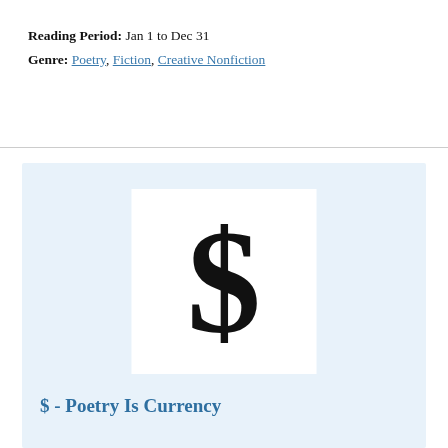Reading Period: Jan 1 to Dec 31
Genre: Poetry, Fiction, Creative Nonfiction
[Figure (illustration): Large bold dollar sign ($) in black on a white square background, set within a light blue panel.]
$ - Poetry Is Currency